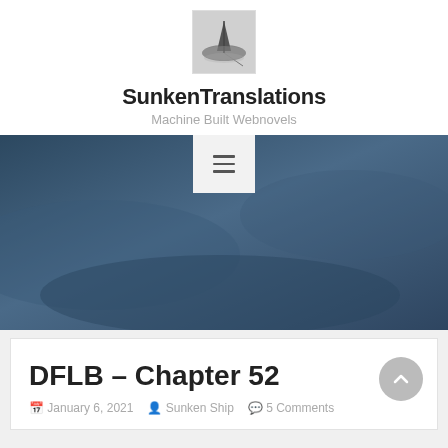[Figure (photo): Black and white photo of a small boat or ship model on water, used as site logo]
SunkenTranslations
Machine Built Webnovels
[Figure (other): Navigation hamburger menu button (three horizontal lines) on light background, overlaid on dark blue hero image background]
DFLB – Chapter 52
January 6, 2021 · Sunken Ship · 5 Comments